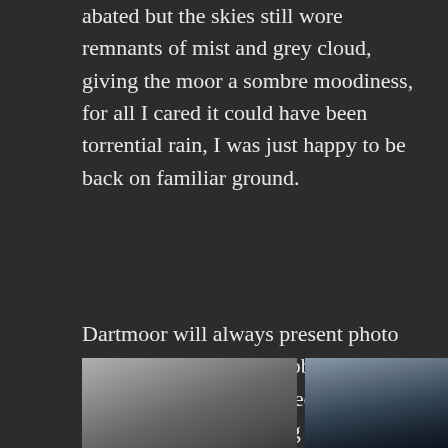abated but the skies still wore remnants of mist and grey cloud, giving the moor a sombre moodiness, for all I cared it could have been torrential rain, I was just happy to be back on familiar ground.
Dartmoor will always present photo opportunities, the most obvious being the landscape as described earlier, yet I find pleasure in finding the smaller treasures, water droplets on grass, a fallen foxglove petal, or fungi thriving in the humid air, to name just a few.
[Figure (photo): Partially visible photograph on the left showing a misty moorland scene with grey skies]
[Figure (photo): Partially visible photograph on the right showing a dark silhouetted rocky form against a cloudy sky]